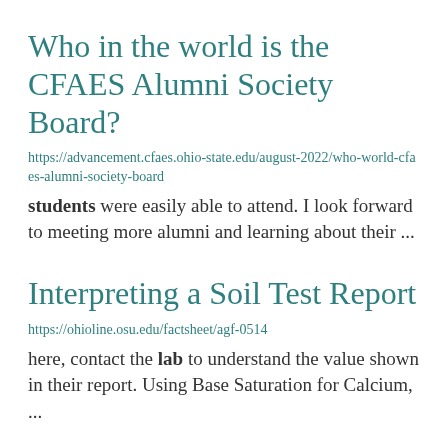Who in the world is the CFAES Alumni Society Board?
https://advancement.cfaes.ohio-state.edu/august-2022/who-world-cfaes-alumni-society-board
students were easily able to attend. I look forward to meeting more alumni and learning about their ...
Interpreting a Soil Test Report
https://ohioline.osu.edu/factsheet/agf-0514
here, contact the lab to understand the value shown in their report. Using Base Saturation for Calcium, ...